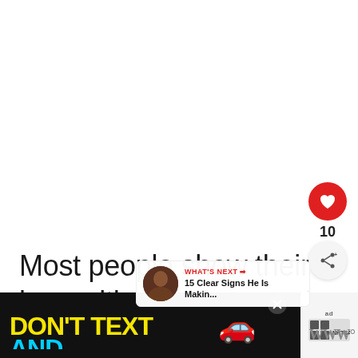Most people show their love with grand romantic getaways, and cute gifts.
[Figure (screenshot): Heart/like button (red circle with white heart icon) and share button below it, with like count '10' between them]
[Figure (screenshot): What's Next overlay showing thumbnail photo of a couple and text '15 Clear Signs He Is Makin...']
[Figure (screenshot): Advertisement banner: DON'T TEXT AND DRIVE with car emoji, NHTSA logo, and ad badge]